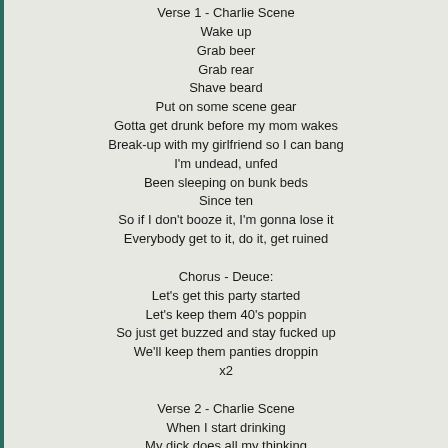Verse 1 - Charlie Scene
Wake up
Grab beer
Grab rear
Shave beard
Put on some scene gear
Gotta get drunk before my mom wakes
Break-up with my girlfriend so I can bang
I'm undead, unfed
Been sleeping on bunk beds
Since ten
So if I don't booze it, I'm gonna lose it
Everybody get to it, do it, get ruined

Chorus - Deuce:
Let's get this party started
Let's keep them 40's poppin
So just get buzzed and stay fucked up
We'll keep them panties droppin
x2

Verse 2 - Charlie Scene
When I start drinking
My dick does all my thinking
Hoes want to be scene with me
And I like their big thick titties
D-Cups with extra filling
Take it out let me lick it quickly
Calm down it's just a hickie
I'll blame it on this whisky sipping gets me
Drink fast and enjoy your buzz
Take back streets to avoid the fuzz